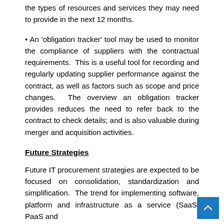the types of resources and services they may need to provide in the next 12 months.
• An 'obligation tracker' tool may be used to monitor the compliance of suppliers with the contractual requirements. This is a useful tool for recording and regularly updating supplier performance against the contract, as well as factors such as scope and price changes. The overview an obligation tracker provides reduces the need to refer back to the contract to check details; and is also valuable during merger and acquisition activities.
Future Strategies
Future IT procurement strategies are expected to be focused on consolidation, standardization and simplification. The trend for implementing software, platform and infrastructure as a service (SaaS, PaaS and